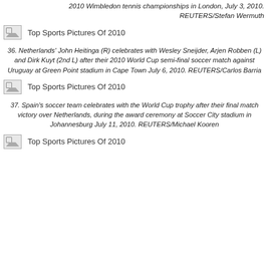2010 Wimbledon tennis championships in London, July 3, 2010. REUTERS/Stefan Wermuth
[Figure (photo): Broken image placeholder for Top Sports Pictures Of 2010]
36. Netherlands' John Heitinga (R) celebrates with Wesley Sneijder, Arjen Robben (L) and Dirk Kuyt (2nd L) after their 2010 World Cup semi-final soccer match against Uruguay at Green Point stadium in Cape Town July 6, 2010. REUTERS/Carlos Barria
[Figure (photo): Broken image placeholder for Top Sports Pictures Of 2010]
37. Spain's soccer team celebrates with the World Cup trophy after their final match victory over Netherlands, during the award ceremony at Soccer City stadium in Johannesburg July 11, 2010. REUTERS/Michael Kooren
[Figure (photo): Broken image placeholder for Top Sports Pictures Of 2010]